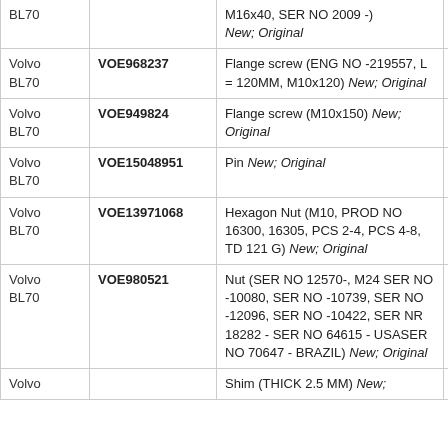| Brand | Part Number | Description | Qty |
| --- | --- | --- | --- |
| Volvo BL70 |  | M16x40, SER NO 2009 -) New; Original | pcs |
| Volvo BL70 | VOE968237 | Flange screw (ENG NO -219557, L = 120MM, M10x120) New; Original | 1 pcs |
| Volvo BL70 | VOE949824 | Flange screw (M10x150) New; Original | 1 pcs |
| Volvo BL70 | VOE15048951 | Pin New; Original | 2 pcs |
| Volvo BL70 | VOE13971068 | Hexagon Nut (M10, PROD NO 16300, 16305, PCS 2-4, PCS 4-8, TD 121 G) New; Original | 2 pcs |
| Volvo BL70 | VOE980521 | Nut (SER NO 12570-, M24 SER NO -10080, SER NO -10739, SER NO -12096, SER NO -10422, SER NR 18282 - SER NO 64615 - USASER NO 70647 - BRAZIL) New; Original | 1 pcs |
| Volvo |  | Shim (THICK 2.5 MM) New; | 4 |